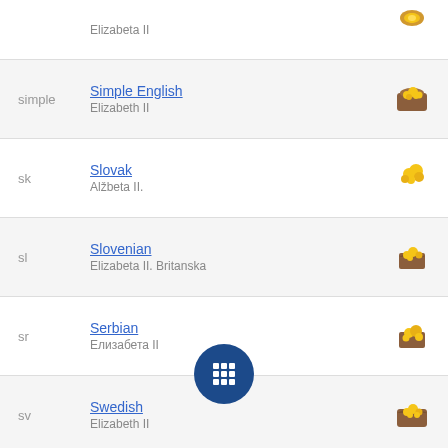Elizabeta II
simple — Simple English — Elizabeth II
sk — Slovak — Alžbeta II.
sl — Slovenian — Elizabeta II. Britanska
sr — Serbian — Елизабета II
sv — Swedish — Elizabeth II
ta — Tamil
th — Thai
tr — Turkish